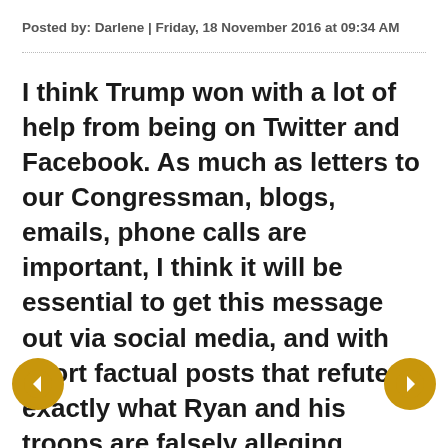Posted by: Darlene | Friday, 18 November 2016 at 09:34 AM
I think Trump won with a lot of help from being on Twitter and Facebook. As much as letters to our Congressman, blogs, emails, phone calls are important, I think it will be essential to get this message out via social media, and with short factual posts that refute exactly what Ryan and his troops are falsely alleging. There are a lot of people who only access the Internet via phone these days, with its important that the